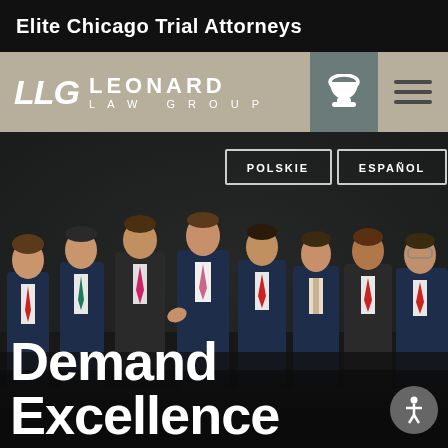Elite Chicago Trial Attorneys
[Figure (logo): LLG Leonard Law Group logo with phone icon and hamburger menu]
[Figure (photo): Group photo of eight male attorneys in dark suits against a dark architectural background, with POLSKIE and ESPAÑOL language buttons overlaid]
Demand Excellence